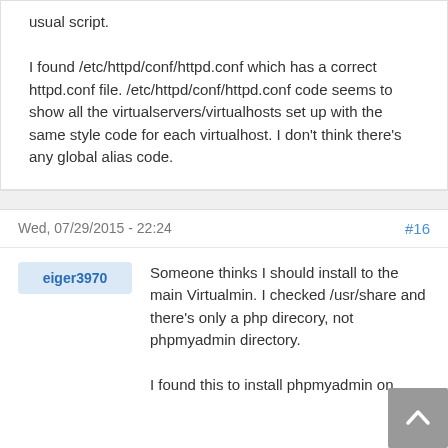usual script.

I found /etc/httpd/conf/httpd.conf which has a correct httpd.conf file. /etc/httpd/conf/httpd.conf code seems to show all the virtualservers/virtualhosts set up with the same style code for each virtualhost. I don't think there's any global alias code.
Wed, 07/29/2015 - 22:24
#16
eiger3970
Someone thinks I should install to the main Virtualmin. I checked /usr/share and there's only a php direcory, not phpmyadmin directory.

I found this to install phpmyadmin on